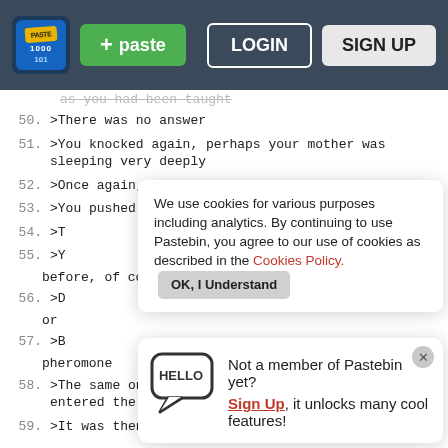Pastebin header with logo, + paste button, LOGIN, SIGN UP
as you had been taught
50. >There was no answer
51. >You knocked again, perhaps your mother was sleeping very deeply
52. >Once again, only silence answered you
53. >You pushed open the door to the room, fearful of wh...
54. >T...
55. >Y... before, of course
56. >D... or
57. >B... pheromone
58. >The same one that you detected as soon as you entered the room
59. >It was then that the reality of the situation hit
We use cookies for various purposes including analytics. By continuing to use Pastebin, you agree to our use of cookies as described in the Cookies Policy. OK, I Understand
Not a member of Pastebin yet? Sign Up, it unlocks many cool features!